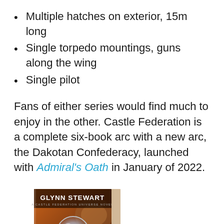Multiple hatches on exterior, 15m long
Single torpedo mountings, guns along the wing
Single pilot
Fans of either series would find much to enjoy in the other. Castle Federation is a complete six-book arc with a new arc, the Dakotan Confederacy, launched with Admiral's Oath in January of 2022.
[Figure (photo): Book cover of a Glynn Stewart Castle Federation Universe novel, showing a science fiction scene with a glowing sphere and a person in uniform, with warm orange/brown background tones. The cover reads GLYNN STEWART and A CASTLE FEDERATION UNIVERSE NOVEL.]